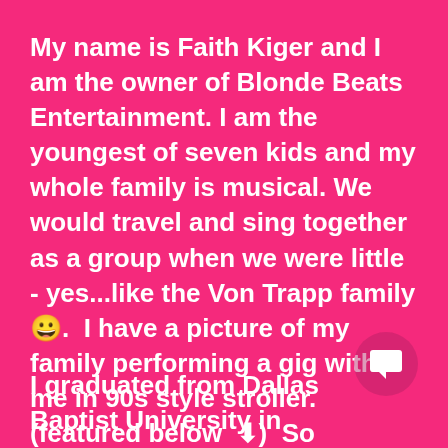My name is Faith Kiger and I am the owner of Blonde Beats Entertainment. I am the youngest of seven kids and my whole family is musical. We would travel and sing together as a group when we were little - yes...like the Von Trapp family 😄.  I have a picture of my family performing a gig with  me in 90s style stroller. (featured below  ⬇)  So production and entertainment has always been a huge part of my life! I loved growing up in a big family, and I am now an aunt to 25 nieces and nephews.
I graduated from Dallas Baptist University in